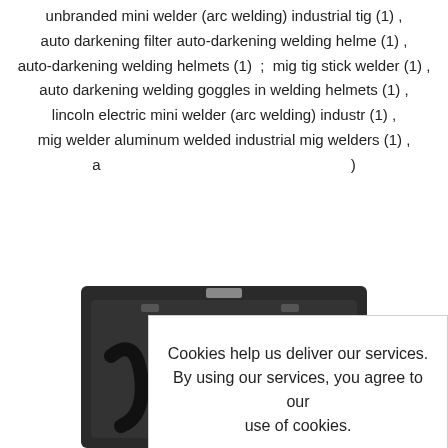unbranded mini welder (arc welding) industrial tig (1) , auto darkening filter auto-darkening welding helme (1) , auto-darkening welding helmets (1) ; mig tig stick welder (1) , auto darkening welding goggles in welding helmets (1) , lincoln electric mini welder (arc welding) industr (1) , mig welder aluminum welded industrial mig welders (1) , a...)
Cookies help us deliver our services. By using our services, you agree to our use of cookies.
OK
Learn more
[Figure (photo): Photo of a welding kit in a black carrying case, showing green hose coiled inside with various attachments and tools.]